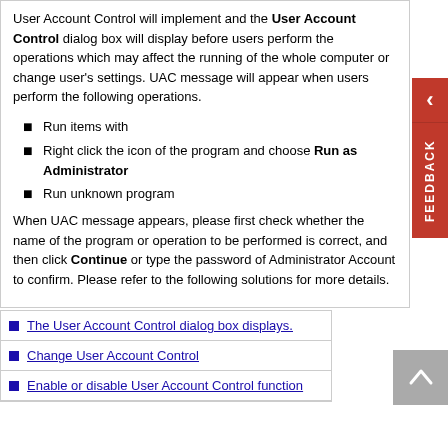User Account Control will implement and the User Account Control dialog box will display before users perform the operations which may affect the running of the whole computer or change user's settings. UAC message will appear when users perform the following operations.
Run items with
Right click the icon of the program and choose Run as Administrator
Run unknown program
When UAC message appears, please first check whether the name of the program or operation to be performed is correct, and then click Continue or type the password of Administrator Account to confirm. Please refer to the following solutions for more details.
The User Account Control dialog box displays.
Change User Account Control
Enable or disable User Account Control function